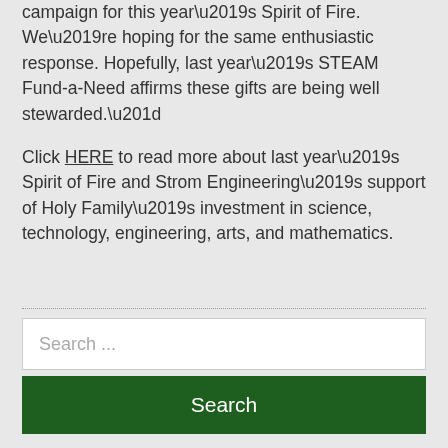campaign for this year’s Spirit of Fire. We’re hoping for the same enthusiastic response. Hopefully, last year’s STEAM Fund-a-Need affirms these gifts are being well stewarded.”
Click HERE to read more about last year’s Spirit of Fire and Strom Engineering’s support of Holy Family’s investment in science, technology, engineering, arts, and mathematics.